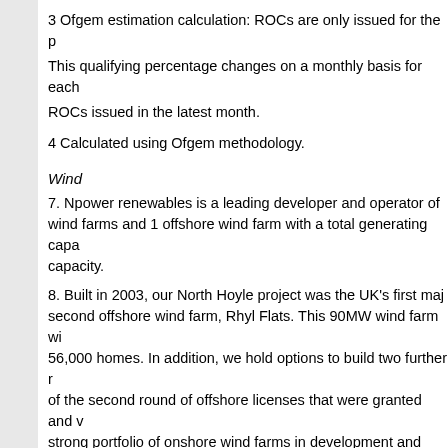3  Ofgem estimation calculation: ROCs are only issued for the p... This qualifying percentage changes on a monthly basis for each... ROCs issued in the latest month.
4  Calculated using Ofgem methodology.
Wind
7.  Npower renewables is a leading developer and operator of wind farms and 1 offshore wind farm with a total generating capacity.
8.  Built in 2003, our North Hoyle project was the UK's first major second offshore wind farm, Rhyl Flats. This 90MW wind farm will power 56,000 homes. In addition, we hold options to build two further of the second round of offshore licenses that were granted and strong portfolio of onshore wind farms in development and under...
Co-firing of Biomass
9.  RWE npower co-fire biomass at a number of conventional p... been a major contributor to co-firing under the RO.
Hydro
10.  We also operate hydroelectric power stations at 15 sites w... to develop small hydroelectric power schemes.